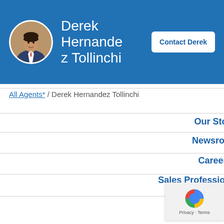[Figure (photo): Profile photo of Derek Hernandez Tollinchi in circular frame, wearing suit]
Derek Hernandez Tollinchi
Contact Derek
All Agents* / Derek Hernandez Tollinchi
Our Story
Newsroom
Careers
Sales Professional Access
Other Sites